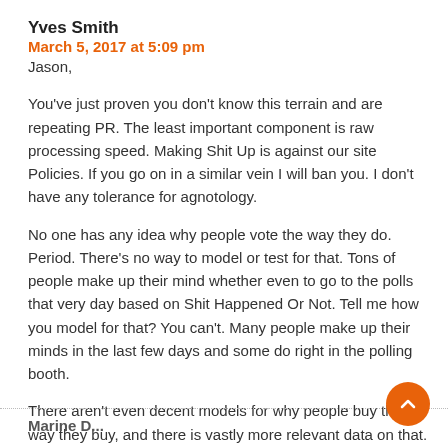Yves Smith
March 5, 2017 at 5:09 pm
Jason,
You've just proven you don't know this terrain and are repeating PR. The least important component is raw processing speed. Making Shit Up is against our site Policies. If you go on in a similar vein I will ban you. I don't have any tolerance for agnotology.
No one has any idea why people vote the way they do. Period. There’s no way to model or test for that. Tons of people make up their mind whether even to go to the polls that very day based on Shit Happened Or Not. Tell me how you model for that? You can't. Many people make up their minds in the last few days and some do right in the polling booth.
There aren’t even decent models for why people buy the way they buy, and there is vastly more relevant data on that.